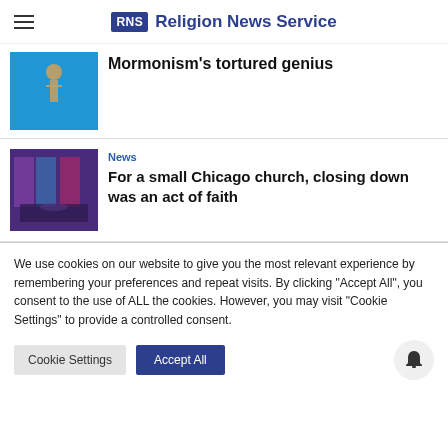RNS Religion News Service
Mormonism's tortured genius
[Figure (photo): Blue sky background with a statue figure]
News
For a small Chicago church, closing down was an act of faith
[Figure (photo): Interior of a church with stained glass windows and congregation]
We use cookies on our website to give you the most relevant experience by remembering your preferences and repeat visits. By clicking "Accept All", you consent to the use of ALL the cookies. However, you may visit "Cookie Settings" to provide a controlled consent.
Cookie Settings
Accept All